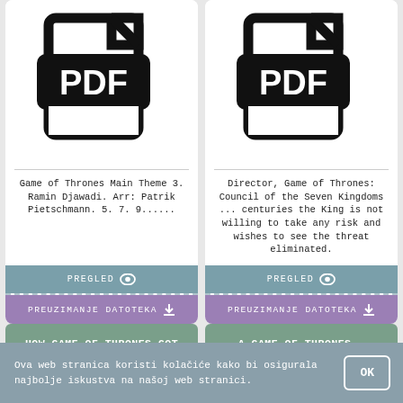[Figure (illustration): PDF file icon (left card)]
Game of Thrones Main Theme 3. Ramin Djawadi. Arr: Patrik Pietschmann. 5. 7. 9......
PREGLED
PREUZIMANJE DATOTEKA
[Figure (illustration): PDF file icon (right card)]
Director, Game of Thrones: Council of the Seven Kingdoms ... centuries the King is not willing to take any risk and wishes to see the threat eliminated.
PREGLED
PREUZIMANJE DATOTEKA
HOW GAME OF THRONES GOT AROUND THE HODOR 'HOLD THE DOOR ...
A GAME OF THRONES – FANTASY FLIGHT GAMES
Ova web stranica koristi kolačiće kako bi osigurala najbolje iskustva na našoj web stranici.
OK